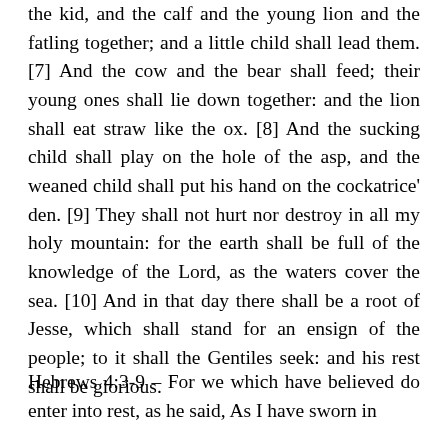the kid, and the calf and the young lion and the fatling together; and a little child shall lead them. [7] And the cow and the bear shall feed; their young ones shall lie down together: and the lion shall eat straw like the ox. [8] And the sucking child shall play on the hole of the asp, and the weaned child shall put his hand on the cockatrice' den. [9] They shall not hurt nor destroy in all my holy mountain: for the earth shall be full of the knowledge of the Lord, as the waters cover the sea. [10] And in that day there shall be a root of Jesse, which shall stand for an ensign of the people; to it shall the Gentiles seek: and his rest shall be glorious.
Hebrews 4:3-9 – For we which have believed do enter into rest, as he said, As I have sworn in